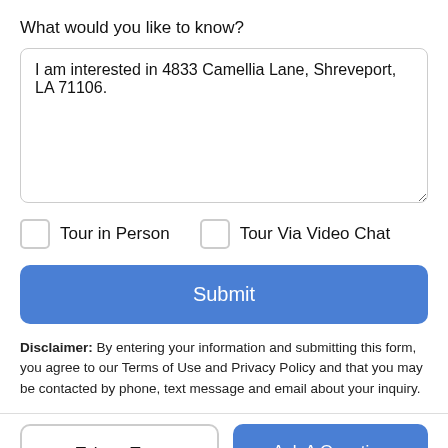What would you like to know?
I am interested in 4833 Camellia Lane, Shreveport, LA 71106.
Tour in Person
Tour Via Video Chat
Submit
Disclaimer: By entering your information and submitting this form, you agree to our Terms of Use and Privacy Policy and that you may be contacted by phone, text message and email about your inquiry.
Take a Tour
Ask A Question